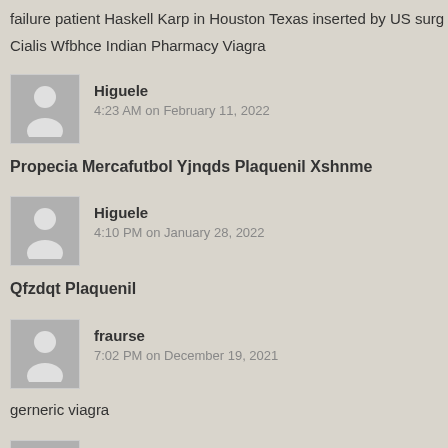failure patient Haskell Karp in Houston Texas inserted by US surg
Cialis Wfbhce Indian Pharmacy Viagra
Higuele
4:23 AM on February 11, 2022
Propecia Mercafutbol Yjnqds Plaquenil Xshnme
Higuele
4:10 PM on January 28, 2022
Qfzdqt Plaquenil
fraurse
7:02 PM on December 19, 2021
gerneric viagra
buy azithromycin 500 single dose